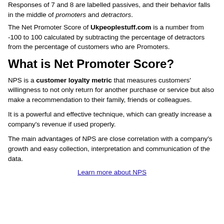Responses of 7 and 8 are labelled passives, and their behavior falls in the middle of promoters and detractors.
The Net Promoter Score of Ukpeoplestuff.com is a number from -100 to 100 calculated by subtracting the percentage of detractors from the percentage of customers who are Promoters.
What is Net Promoter Score?
NPS is a customer loyalty metric that measures customers' willingness to not only return for another purchase or service but also make a recommendation to their family, friends or colleagues.
It is a powerful and effective technique, which can greatly increase a company's revenue if used properly.
The main advantages of NPS are close correlation with a company's growth and easy collection, interpretation and communication of the data.
Learn more about NPS